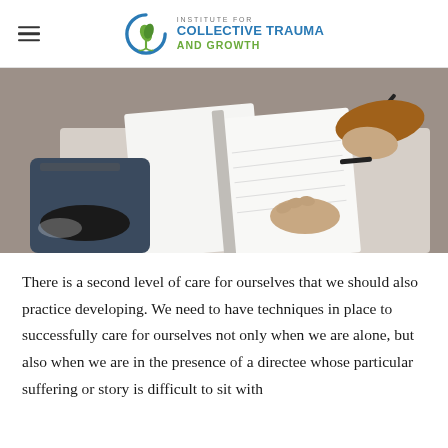INSTITUTE FOR COLLECTIVE TRAUMA AND GROWTH
[Figure (photo): Overhead view of a person sitting on the floor writing in an open notebook with a pen, wearing a brown long-sleeve shirt and dark jeans, with a laptop visible nearby.]
There is a second level of care for ourselves that we should also practice developing. We need to have techniques in place to successfully care for ourselves not only when we are alone, but also when we are in the presence of a directee whose particular suffering or story is difficult to sit with